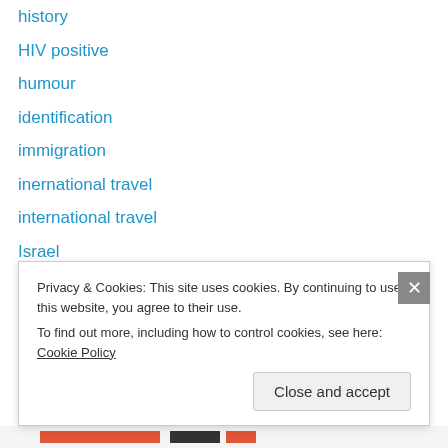history
HIV positive
humour
identification
immigration
inernational travel
international travel
Israel
Jerusalem
Kathleen Wynne
language
lawsuits
LGBT
Privacy & Cookies: This site uses cookies. By continuing to use this website, you agree to their use. To find out more, including how to control cookies, see here: Cookie Policy
Close and accept